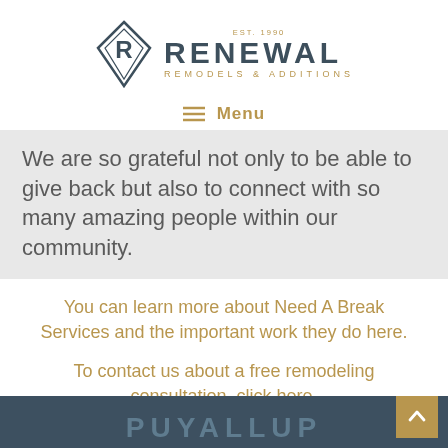[Figure (logo): Renewal Remodels & Additions logo with diamond shape containing letter R, EST. 1990, and company name text]
≡ Menu
We are so grateful not only to be able to give back but also to connect with so many amazing people within our community.
You can learn more about Need A Break Services and the important work they do here.
To contact us about a free remodeling consultation, click here.
PUYALLUP